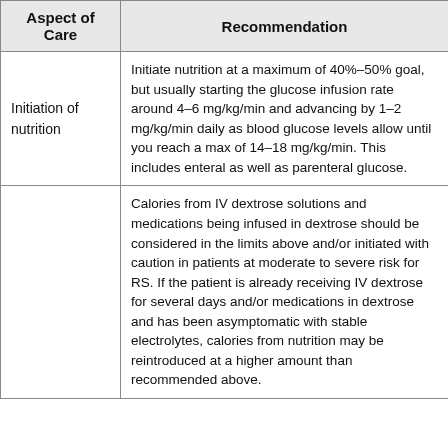| Aspect of Care | Recommendation |
| --- | --- |
| Initiation of nutrition | Initiate nutrition at a maximum of 40%–50% goal, but usually starting the glucose infusion rate around 4–6 mg/kg/min and advancing by 1–2 mg/kg/min daily as blood glucose levels allow until you reach a max of 14–18 mg/kg/min. This includes enteral as well as parenteral glucose. |
|  | Calories from IV dextrose solutions and medications being infused in dextrose should be considered in the limits above and/or initiated with caution in patients at moderate to severe risk for RS. If the patient is already receiving IV dextrose for several days and/or medications in dextrose and has been asymptomatic with stable electrolytes, calories from nutrition may be reintroduced at a higher amount than recommended above. |